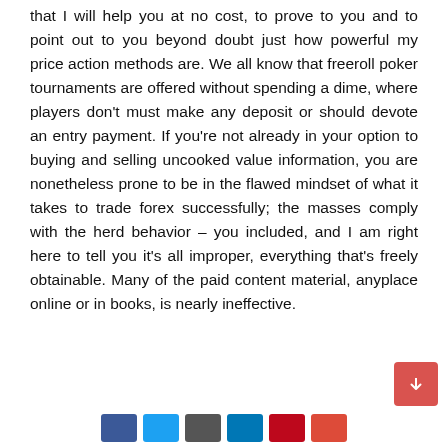that I will help you at no cost, to prove to you and to point out to you beyond doubt just how powerful my price action methods are. We all know that freeroll poker tournaments are offered without spending a dime, where players don't must make any deposit or should devote an entry payment. If you're not already in your option to buying and selling uncooked value information, you are nonetheless prone to be in the flawed mindset of what it takes to trade forex successfully; the masses comply with the herd behavior – you included, and I am right here to tell you it's all improper, everything that's freely obtainable. Many of the paid content material, anyplace online or in books, is nearly ineffective.